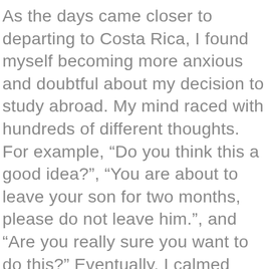As the days came closer to departing to Costa Rica, I found myself becoming more anxious and doubtful about my decision to study abroad. My mind raced with hundreds of different thoughts. For example, “Do you think this a good idea?”, “You are about to leave your son for two months, please do not leave him.”, and “Are you really sure you want to do this?” Eventually, I calmed down and silenced the ongoing rant in my mind. I spoked positivity and inspiration to myself as I boarded the plane. Once I arrived in the Costa Rica, I was happy and excited that I did not allow my anxiety prevent me from experiencing a once-in-a-lifetime opportunity.

Over the past several weeks in Costa Rica , I have noticed major growth and maturation within myself. I